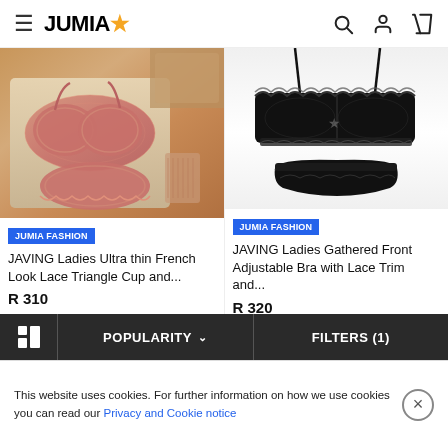JUMIA
[Figure (photo): Pink lace bra and panty set laid flat on a cream textile surface with decorative items in background]
JUMIA FASHION
JAVING Ladies Ultra thin French Look Lace Triangle Cup and...
R 310
[Figure (photo): Black lace bra and panty set displayed on white background with thin straps]
JUMIA FASHION
JAVING Ladies Gathered Front Adjustable Bra with Lace Trim and...
R 320
POPULARITY   FILTERS (1)
This website uses cookies. For further information on how we use cookies you can read our Privacy and Cookie notice